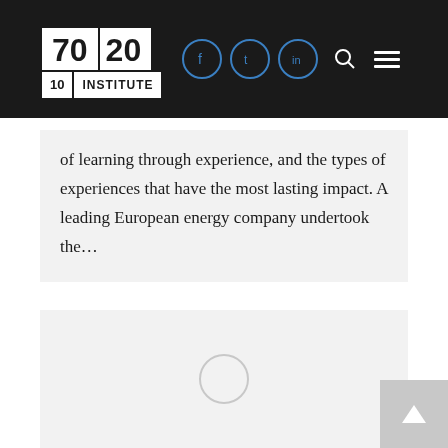70|20|10 INSTITUTE
of learning through experience, and the types of experiences that have the most lasting impact. A leading European energy company undertook the…
[Figure (other): Loading spinner circle placeholder on a light grey card background]
[Figure (other): Scroll to top button with upward arrow, grey square in bottom right corner]